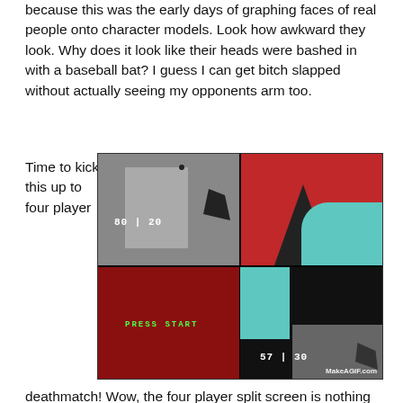because this was the early days of graphing faces of real people onto character models. Look how awkward they look. Why does it look like their heads were bashed in with a baseball bat? I guess I can get bitch slapped without actually seeing my opponents arm too.
Time to kick this up to four player
[Figure (screenshot): Four-player split-screen view of a retro first-person shooter game. Top-left quadrant shows a gray corridor. Top-right shows a red background with a teal shape. Bottom-left shows a dark red area with green PRESS START text and score 80|20. Bottom-right shows teal and grid textures with score 57|30. MakeAGIF.com watermark visible.]
deathmatch! Wow, the four player split screen is nothing like I